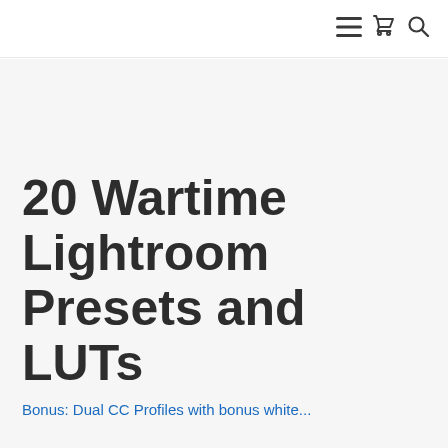≡ 🛒 🔍
20 Wartime Lightroom Presets and LUTs
Bonus: Dual CC Profiles with bonus white...